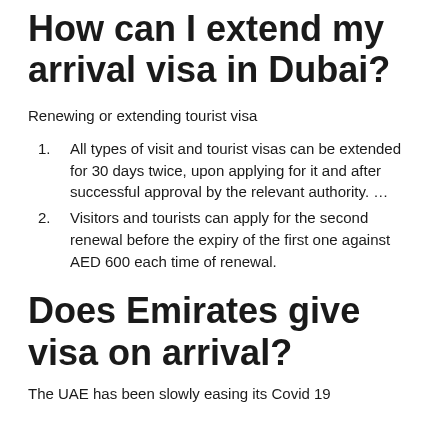How can I extend my arrival visa in Dubai?
Renewing or extending tourist visa
All types of visit and tourist visas can be extended for 30 days twice, upon applying for it and after successful approval by the relevant authority. …
Visitors and tourists can apply for the second renewal before the expiry of the first one against AED 600 each time of renewal.
Does Emirates give visa on arrival?
The UAE has been slowly easing its Covid 19